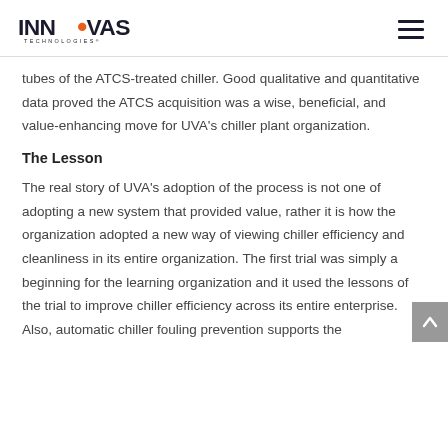INNOVAS TECHNOLOGIES
tubes of the ATCS-treated chiller. Good qualitative and quantitative data proved the ATCS acquisition was a wise, beneficial, and value-enhancing move for UVA’s chiller plant organization.
The Lesson
The real story of UVA’s adoption of the process is not one of adopting a new system that provided value, rather it is how the organization adopted a new way of viewing chiller efficiency and cleanliness in its entire organization. The first trial was simply a beginning for the learning organization and it used the lessons of the trial to improve chiller efficiency across its entire enterprise. Also, automatic chiller fouling prevention supports the